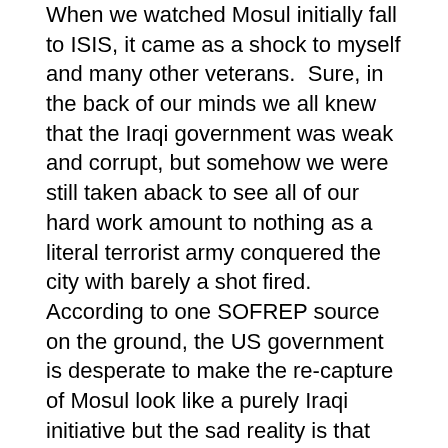When we watched Mosul initially fall to ISIS, it came as a shock to myself and many other veterans. Sure, in the back of our minds we all knew that the Iraqi government was weak and corrupt, but somehow we were still taken aback to see all of our hard work amount to nothing as a literal terrorist army conquered the city with barely a shot fired. According to one SOFREP source on the ground, the US government is desperate to make the re-capture of Mosul look like a purely Iraqi initiative but the sad reality is that the Iraqi forces would be nearly useless without American supporting, coaxing, and perhaps even coercion in some cases.
The press is already floating stories about ISIS 2.0. On SOFREP we've been talking about the end game since the very beginning. What comes after ISIS? So we defeat yet another group of terrorists? In 2005 me and my teammates fought Al Qaeda in Iraq. In 2009 we fought the Islamic State of Iraq. In 2017, our Special Operations soldiers have fought ISIS in Mosul. Without strong institutions of